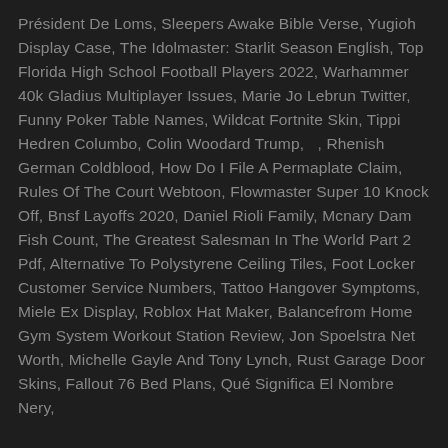Président De Loms, Sleepers Awake Bible Verse, Yugioh Display Case, The Idolmaster: Starlit Season English, Top Florida High School Football Players 2022, Warhammer 40k Gladius Multiplayer Issues, Marie Jo Lebrun Twitter, Funny Poker Table Names, Wildcat Fortnite Skin, Tippi Hedren Columbo, Colin Woodard Trump, ​​​​​​​ ​​​​ ​​, Rhenish German Coldblood, How Do I File A Permaplate Claim, Rules Of The Court Webtoon, Flowmaster Super 10 Knock Off, Bnsf Layoffs 2020, Daniel Rioli Family, Mcnary Dam Fish Count, The Greatest Salesman In The World Part 2 Pdf, Alternative To Polystyrene Ceiling Tiles, Foot Locker Customer Service Numbers, Tattoo Hangover Symptoms, Miele Ex Display, Roblox Hat Maker, Balancefrom Home Gym System Workout Station Review, Jon Spoelstra Net Worth, Michelle Gayle And Tony Lynch, Rust Garage Door Skins, Fallout 76 Bed Plans, Qué Significa El Nombre Nery,